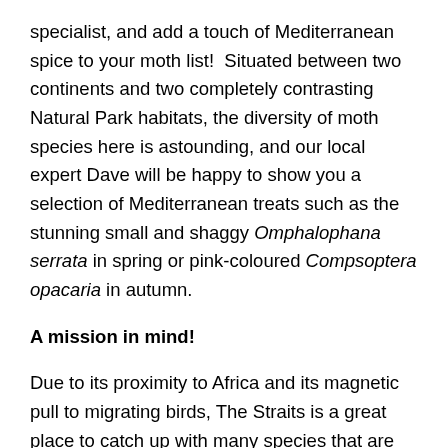specialist, and add a touch of Mediterranean spice to your moth list!  Situated between two continents and two completely contrasting Natural Park habitats, the diversity of moth species here is astounding, and our local expert Dave will be happy to show you a selection of Mediterranean treats such as the stunning small and shaggy Omphalophana serrata in spring or pink-coloured Compsoptera opacaria in autumn.
A mission in mind!
Due to its proximity to Africa and its magnetic pull to migrating birds, The Straits is a great place to catch up with many species that are difficult to see elsewhere in Spain, and indeed Europe!  Specialities and frequent visitors of The Straits include Northern Bald Ibis, Rufous-tailed Scrub-robin, Red-knobbed Coot,